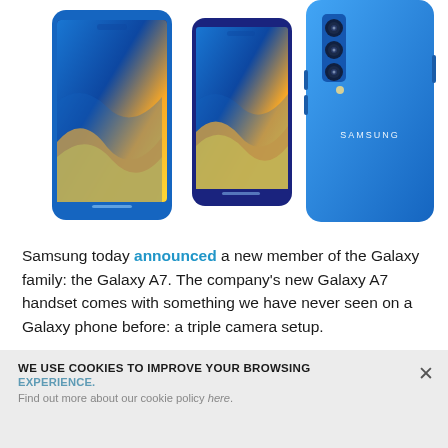[Figure (photo): Three Samsung Galaxy A7 smartphones shown from different angles: front face showing blue/yellow wave wallpaper (left), side-angled view of front (center), and back view showing SAMSUNG branding and triple camera (right). All in blue color.]
Samsung today announced a new member of the Galaxy family: the Galaxy A7. The company's new Galaxy A7 handset comes with something we have never seen on a Galaxy phone before: a triple camera setup.
WE USE COOKIES TO IMPROVE YOUR BROWSING EXPERIENCE.
Find out more about our cookie policy here.